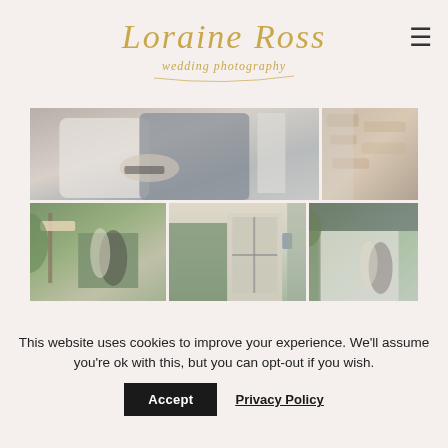[Figure (logo): Loraine Ross wedding photography logo in gold cursive script]
[Figure (photo): Top row: two wedding photos side by side — left shows couple embracing (groom in grey suit, bride in white), right shows a rustic stone wall detail]
[Figure (photo): Bottom row: three wedding photos — couple posing outside rustic venue with green corrugated buildings and stone walls]
This website uses cookies to improve your experience. We'll assume you're ok with this, but you can opt-out if you wish.
Accept
Privacy Policy